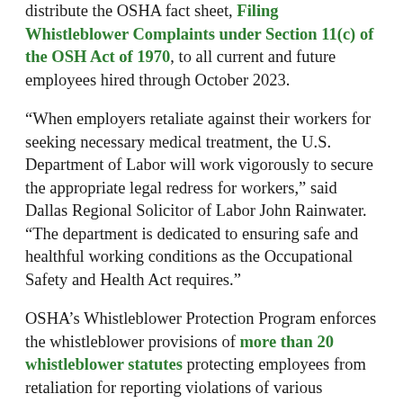distribute the OSHA fact sheet, Filing Whistleblower Complaints under Section 11(c) of the OSH Act of 1970, to all current and future employees hired through October 2023.
“When employers retaliate against their workers for seeking necessary medical treatment, the U.S. Department of Labor will work vigorously to secure the appropriate legal redress for workers,” said Dallas Regional Solicitor of Labor John Rainwater. “The department is dedicated to ensuring safe and healthful working conditions as the Occupational Safety and Health Act requires.”
OSHA’s Whistleblower Protection Program enforces the whistleblower provisions of more than 20 whistleblower statutes protecting employees from retaliation for reporting violations of various workplace safety and health, airline, commercial motor carrier, consumer product,